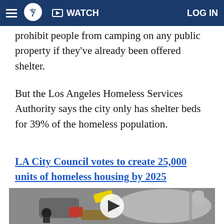ABC7 | WATCH | LOG IN
prohibit people from camping on any public property if they've already been offered shelter.
But the Los Angeles Homeless Services Authority says the city only has shelter beds for 39% of the homeless population.
LA City Council votes to create 25,000 units of homeless housing by 2025
[Figure (photo): Aerial view of a homeless encampment showing people, tents, tarps, and belongings scattered on pavement, with a video play button overlay]